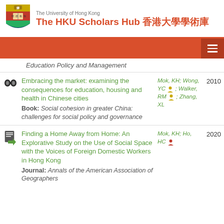The University of Hong Kong — The HKU Scholars Hub 香港大學學術庫
Education Policy and Management
Embracing the market: examining the consequences for education, housing and health in Chinese cities — Book: Social cohesion in greater China: challenges for social policy and governance — Mok, KH; Wong, YC; Walker, RM; Zhang, XL — 2010
Finding a Home Away from Home: An Explorative Study on the Use of Social Space with the Voices of Foreign Domestic Workers in Hong Kong — Journal: Annals of the American Association of Geographers — Mok, KH; Ho, HC — 2020